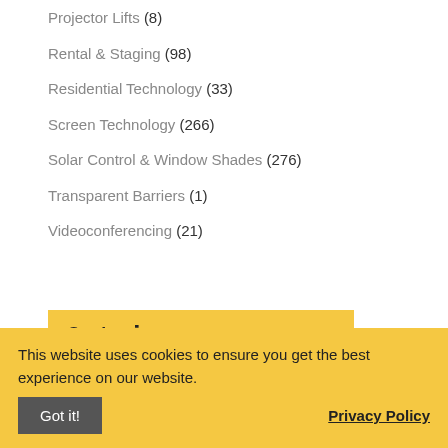Projector Lifts (8)
Rental & Staging (98)
Residential Technology (33)
Screen Technology (266)
Solar Control & Window Shades (276)
Transparent Barriers (1)
Videoconferencing (21)
Opt-in.
Sign up to receive updates from Draper right in your inbox. You can choose to receive only the items that are interesting to you.
This website uses cookies to ensure you get the best experience on our website.